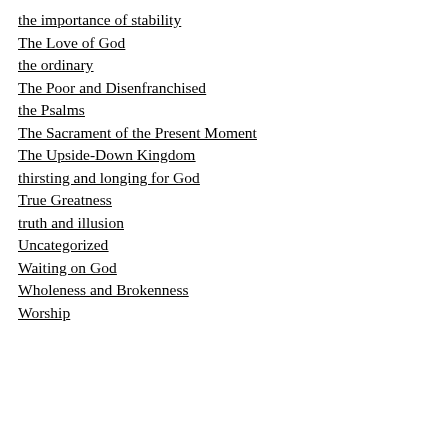the importance of stability
The Love of God
the ordinary
The Poor and Disenfranchised
the Psalms
The Sacrament of the Present Moment
The Upside-Down Kingdom
thirsting and longing for God
True Greatness
truth and illusion
Uncategorized
Waiting on God
Wholeness and Brokenness
Worship